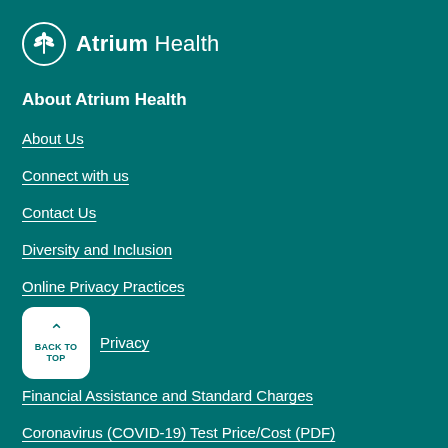[Figure (logo): Atrium Health logo: circular leaf/wheat emblem in white with text 'Atrium Health' in white on teal background]
About Atrium Health
About Us
Connect with us
Contact Us
Diversity and Inclusion
Online Privacy Practices
Privacy
Financial Assistance and Standard Charges
Coronavirus (COVID-19) Test Price/Cost (PDF)